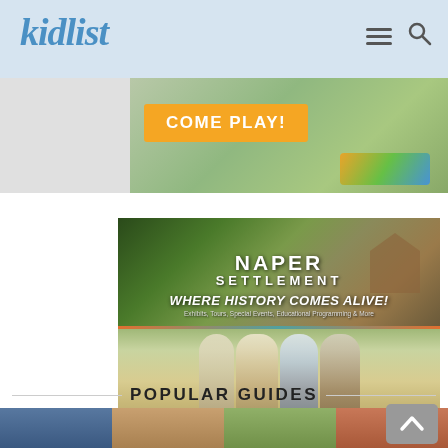kidlist
[Figure (photo): Advertisement banner with orange 'COME PLAY!' button and colorful toy blocks]
[Figure (photo): Naper Settlement advertisement: 'WHERE HISTORY COMES ALIVE! Exhibits, Tours, Special Events, Educational Programming & More' with photos of children in period costumes and historical reenactors. Footer text: 'Naperville residents receive free museum general admission!']
POPULAR GUIDES
[Figure (photo): Four thumbnail images for popular guides section showing children and family activities]